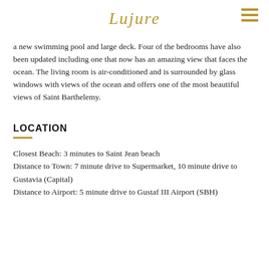Lujure
a new swimming pool and large deck. Four of the bedrooms have also been updated including one that now has an amazing view that faces the ocean. The living room is air-conditioned and is surrounded by glass windows with views of the ocean and offers one of the most beautiful views of Saint Barthelemy.
LOCATION
Closest Beach: 3 minutes to Saint Jean beach
Distance to Town: 7 minute drive to Supermarket, 10 minute drive to Gustavia (Capital)
Distance to Airport: 5 minute drive to Gustaf III Airport (SBH)